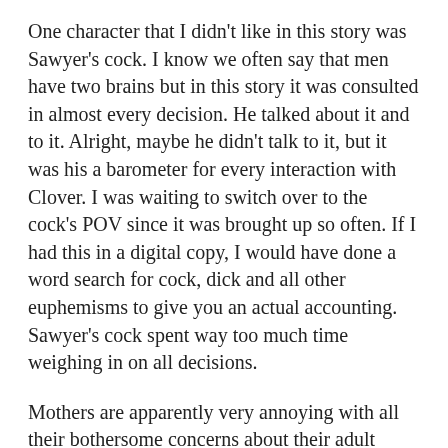One character that I didn't like in this story was Sawyer's cock.  I know we often say that men have two brains but in this story it was consulted in almost every decision.  He talked about it and to it.  Alright, maybe he didn't talk to it, but it was his a barometer for every interaction with Clover.   I was waiting to switch over to the cock's POV since it was brought up so often.  If I had this in a digital copy, I would have done a word search for cock, dick and all other euphemisms to give you an actual accounting.  Sawyer's cock spent way too much time weighing in on all decisions.
Mothers are apparently very annoying with all their bothersome concerns about their adult children working themselves to death or having no life plan.  While I might agree that Clover at 26 should be living life footloose and fancy free, having adventures to